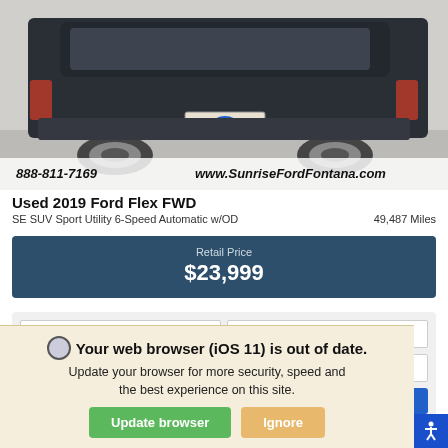[Figure (photo): Rear view of a dark-colored Ford Flex SUV in a parking lot. Dealer phone 888-811-7169 and website www.SunriseFordFontana.com overlaid at bottom of image.]
Used 2019 Ford Flex FWD
SE SUV Sport Utility 6-Speed Automatic w/OD    49,487 Miles
Retail Price
$23,999
*First Name  *Last Name  *Email
Your web browser (iOS 11) is out of date. Update your browser for more security, speed and the best experience on this site.
Update browser  Ignore